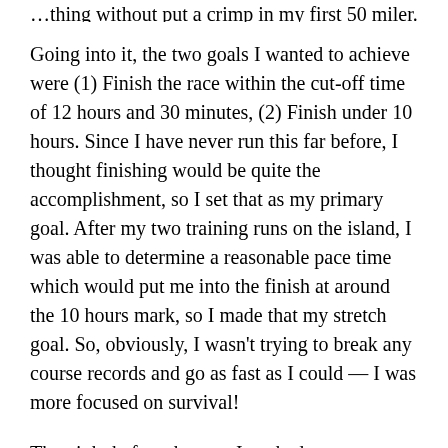…thing without put a crimp in my first 50 miler.
Going into it, the two goals I wanted to achieve were (1) Finish the race within the cut-off time of 12 hours and 30 minutes, (2) Finish under 10 hours. Since I have never run this far before, I thought finishing would be quite the accomplishment, so I set that as my primary goal. After my two training runs on the island, I was able to determine a reasonable pace time which would put me into the finish at around the 10 hours mark, so I made that my stretch goal. So, obviously, I wasn't trying to break any course records and go as fast as I could — I was more focused on survival!
The night before the race I packed up everything I ever thought I might need. In typical fashion I over-packed both my hydration vest that I wore the whole trip as well as my two drop bags. I tried to …